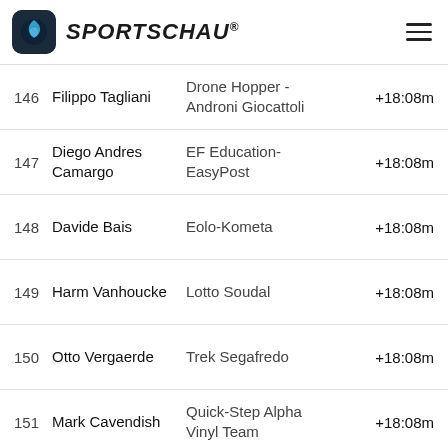SPORTSCHAU®
| # | Name | Team | Time |
| --- | --- | --- | --- |
| 146 | Filippo Tagliani | Drone Hopper - Androni Giocattoli | +18:08m |
| 147 | Diego Andres Camargo | EF Education-EasyPost | +18:08m |
| 148 | Davide Bais | Eolo-Kometa | +18:08m |
| 149 | Harm Vanhoucke | Lotto Soudal | +18:08m |
| 150 | Otto Vergaerde | Trek Segafredo | +18:08m |
| 151 | Mark Cavendish | Quick-Step Alpha Vinyl Team | +18:08m |
| 152 | James Knox | Quick-Step Alpha Vinyl Team | +18:08m |
| 153 | Rick Zabel | Israel - Premier Tech | +18:08m |